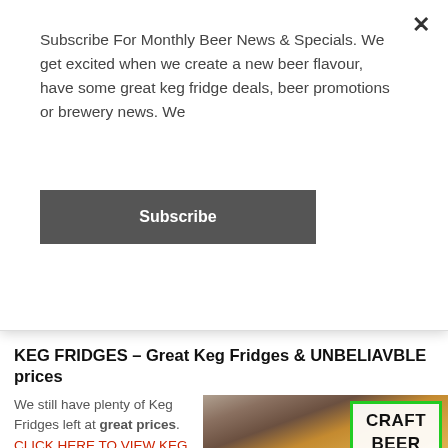Subscribe For Monthly Beer News & Specials. We get excited when we create a new beer flavour, have some great keg fridge deals, beer promotions or brewery news. We
Subscribe
sold draft beer at home.
KEG FRIDGES – Great Keg Fridges & UNBELIAVBLE prices
We still have plenty of Keg Fridges left at great prices. CLICK HERE TO VIEW KEG FRIDGES However, when they are all sold, we're not sure if we can get any
[Figure (photo): A hand holding a pint glass of craft beer being poured, with a green-bordered 'CRAFT BEER ON TAP' text overlay in the top right corner.]